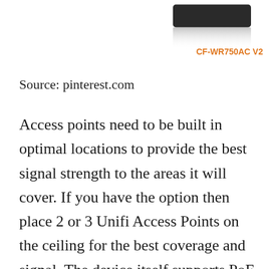[Figure (photo): A black wireless router/access point device (CF-WR750AC V2) shown partially from top with its reflection, with orange model label text below it]
CF-WR750AC V2
Source: pinterest.com
Access points need to be built in optimal locations to provide the best signal strength to the areas it will cover. If you have the option then place 2 or 3 Unifi Access Points on the ceiling for the best coverage and signal. The device itself supports PoE features dual-band support 450Mbps 25GHz 1300Mbps 5GHz 33 MIMO and is weather